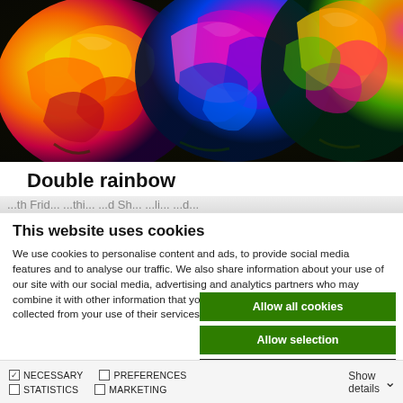[Figure (photo): Close-up photograph of colorful rainbow roses with vivid petals in yellow, green, red, pink, blue, and orange colors]
Double rainbow
...th Frid... ...l... ...thi... ...d Sh... ...li... ...d...
This website uses cookies
We use cookies to personalise content and ads, to provide social media features and to analyse our traffic. We also share information about your use of our site with our social media, advertising and analytics partners who may combine it with other information that you've provided to them or that they've collected from your use of their services.
Allow all cookies
Allow selection
Use necessary cookies only
NECESSARY   PREFERENCES
STATISTICS   MARKETING
Show details